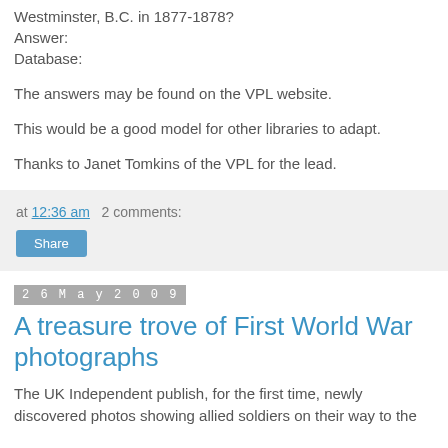Westminster, B.C. in 1877-1878?
Answer:
Database:
The answers may be found on the VPL website.
This would be a good model for other libraries to adapt.
Thanks to Janet Tomkins of the VPL for the lead.
at 12:36 am   2 comments:
Share
26 May 2009
A treasure trove of First World War photographs
The UK Independent publish, for the first time, newly discovered photos showing allied soldiers on their way to the